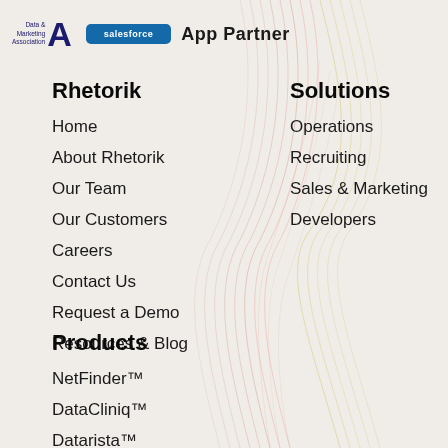[Figure (logo): Data & Marketing Association logo with stylized A]
[Figure (logo): Salesforce AppExchange App Partner logo]
Rhetorik
Home
About Rhetorik
Our Team
Our Customers
Careers
Contact Us
Request a Demo
Resources & Blog
Solutions
Operations
Recruiting
Sales & Marketing
Developers
Products
NetFinder™
DataCliniq™
Datarista™
ProfileFinder™